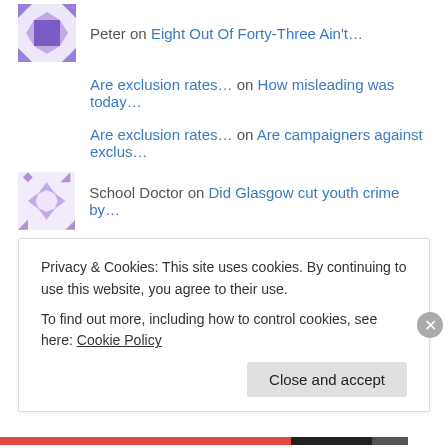Peter on Eight Out Of Forty-Three Ain't…
Are exclusion rates… on How misleading was today…
Are exclusion rates… on Are campaigners against exclus…
School Doctor on Did Glasgow cut youth crime by…
Do permanent exclusi… on Another look at exclusions and…
Do permanent exclusi… on A new report on exclusions
Privacy & Cookies: This site uses cookies. By continuing to use this website, you agree to their use. To find out more, including how to control cookies, see here: Cookie Policy
Close and accept